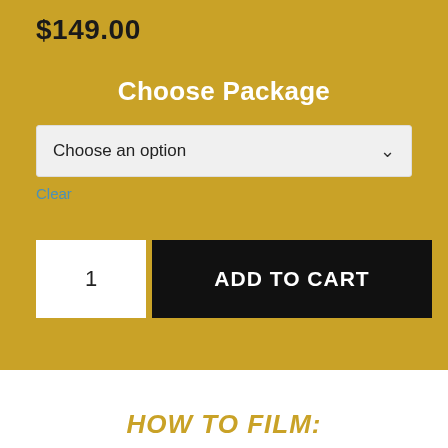$149.00
Choose Package
Choose an option
Clear
1
ADD TO CART
HOW TO FILM: